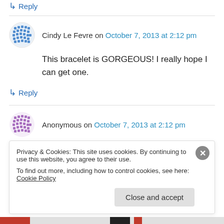↳ Reply
Cindy Le Fevre on October 7, 2013 at 2:12 pm
This bracelet is GORGEOUS! I really hope I can get one.
↳ Reply
Anonymous on October 7, 2013 at 2:12 pm
Love it!!! Need it!!!!
Privacy & Cookies: This site uses cookies. By continuing to use this website, you agree to their use.
To find out more, including how to control cookies, see here: Cookie Policy
Close and accept